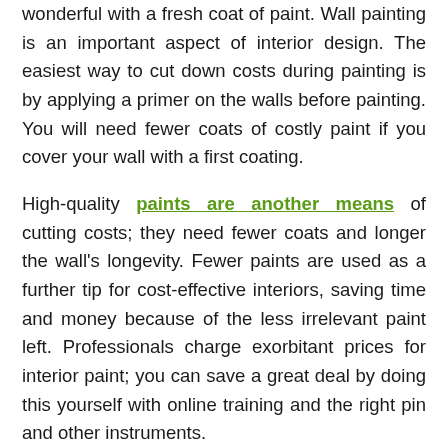wonderful with a fresh coat of paint. Wall painting is an important aspect of interior design. The easiest way to cut down costs during painting is by applying a primer on the walls before painting. You will need fewer coats of costly paint if you cover your wall with a first coating.
High-quality paints are another means of cutting costs; they need fewer coats and longer the wall's longevity. Fewer paints are used as a further tip for cost-effective interiors, saving time and money because of the less irrelevant paint left. Professionals charge exorbitant prices for interior paint; you can save a great deal by doing this yourself with online training and the right pin and other instruments.
Illumination